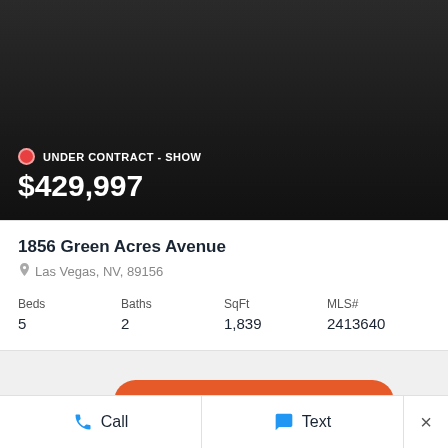[Figure (photo): Dark background photo area of a property listing, showing near-black gradient]
UNDER CONTRACT - SHOW
$429,997
1856 Green Acres Avenue
Las Vegas, NV, 89156
| Beds | Baths | SqFt | MLS# |
| --- | --- | --- | --- |
| 5 | 2 | 1,839 | 2413640 |
VIEW ALL LISTINGS
Call
Text